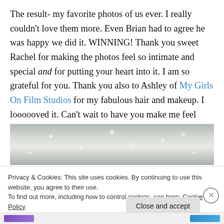The result- my favorite photos of us ever. I really couldn't love them more. Even Brian had to agree he was happy we did it. WINNING! Thank you sweet Rachel for making the photos feel so intimate and special and for putting your heart into it. I am so grateful for you. Thank you also to Ashley of My Girls On Film Studios for my fabulous hair and makeup. I loooooved it. Can't wait to have you make me feel gorgeous on my big day.
[Figure (photo): A grayscale/muted photo showing a snowy or bokeh winter scene with white blossoms or snowflakes against a light background.]
Privacy & Cookies: This site uses cookies. By continuing to use this website, you agree to their use.
To find out more, including how to control cookies, see here: Cookie Policy